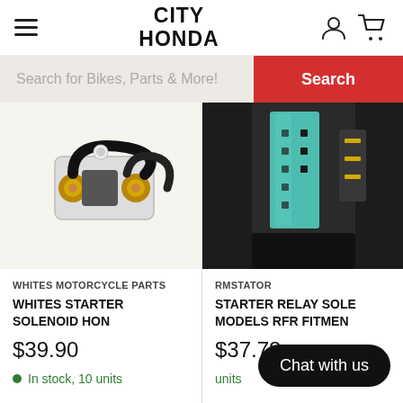CITY HONDA
Search for Bikes, Parts & More!
[Figure (photo): Close-up photo of a motorcycle starter solenoid relay with gold/copper terminals and black wiring on a white background.]
WHITES MOTORCYCLE PARTS
WHITES STARTER SOLENOID HON
$39.90
In stock, 10 units
[Figure (photo): Close-up photo of a black electronic module/starter relay solenoid with a teal/green connector on a dark background.]
RMSTATOR
STARTER RELAY SOLE MODELS RFR FITMEN
$37.78
units
Chat with us